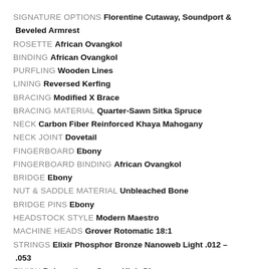SIGNATURE OPTIONS Florentine Cutaway, Soundport & Beveled Armrest
ROSETTE African Ovangkol
BINDING African Ovangkol
PURFLING Wooden Lines
LINING Reversed Kerfing
BRACING Modified X Brace
BRACING MATERIAL Quarter-Sawn Sitka Spruce
NECK Carbon Fiber Reinforced Khaya Mahogany
NECK JOINT Dovetail
FINGERBOARD Ebony
FINGERBOARD BINDING African Ovangkol
BRIDGE Ebony
NUT & SADDLE MATERIAL Unbleached Bone
BRIDGE PINS Ebony
HEADSTOCK STYLE Modern Maestro
MACHINE HEADS Grover Rotomatic 18:1
STRINGS Elixir Phosphor Bronze Nanoweb Light .012 - .053
FINISH Polyurethane Super High Gloss
SETUP PLEK Setup